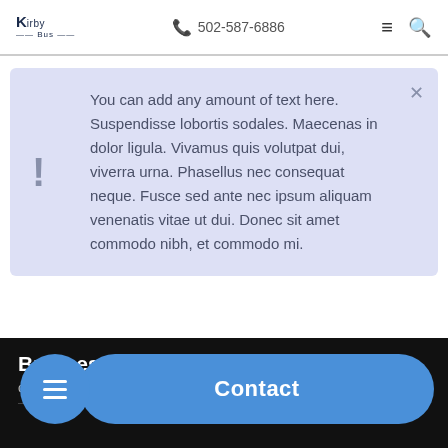Kirby Bus | ☎ 502-587-6886 | ≡ 🔍
You can add any amount of text here. Suspendisse lobortis sodales. Maecenas in dolor ligula. Vivamus quis volutpat dui, viverra urna. Phasellus nec consequat neque. Fusce sed ante nec ipsum aliquam venenatis vitae ut dui. Donec sit amet commodo nibh, et commodo mi.
Business Hours
day